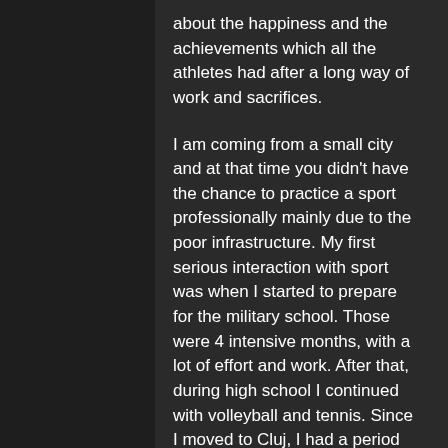about the happiness and the achievements which all the athletes had after a long way of work and sacrifices.
I am coming from a small city and at that time you didn't have the chance to practice a sport professionally mainly due to the poor infrastructure. My first serious interaction with sport was when I started to prepare for the military school. Those were 4 intensive months, with a lot of effort and work. After that, during high school I continued with volleyball and tennis. Since I moved to Cluj, I had a period when I stood aside from sports, but soon I started again